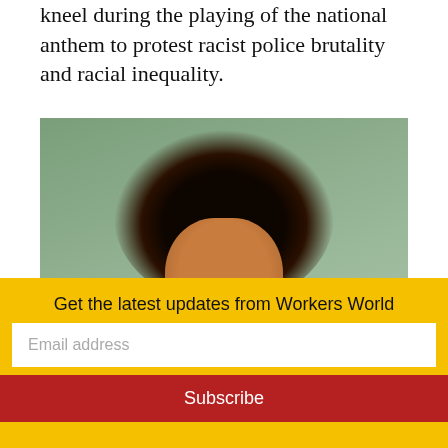kneel during the playing of the national anthem to protest racist police brutality and racial inequality.
[Figure (photo): A smiling man with a large afro hairstyle wearing a black 'Kunta Kinte' t-shirt with a circular logo, photographed outdoors on a green field. Photo credit: © Getty Images]
Get the latest updates from Workers World
Email address
Subscribe